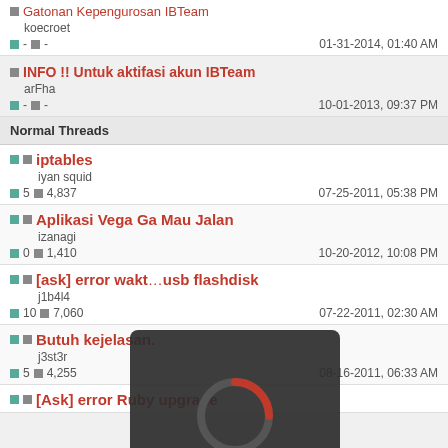Gatonan Kepengurosan IBTeam - koecroet | 01-31-2014, 01:40 AM
INFO !! Untuk aktifasi akun IBTeam - arFha | 10-01-2013, 09:37 PM
Normal Threads
iptables - iyan squid | replies 5 | views 4,837 | 07-25-2011, 05:38 PM
Aplikasi Vega Ga Mau Jalan - izanagi | replies 0 | views 1,410 | 10-20-2012, 10:08 PM
[ask] error wakt... usb flashdisk - j1b4l4 | replies 10 | views 7,060 | 07-22-2011, 02:30 AM
Butuh kejelasan. - j3st3r | replies 5 | views 4,255 | 08-16-2011, 06:33 AM
[Ask] error Ruby upgrade
[Figure (infographic): Loading overlay with spinner circle (dark rounded rectangle, red/grey arc spinner, text 'Loading please wait.')]